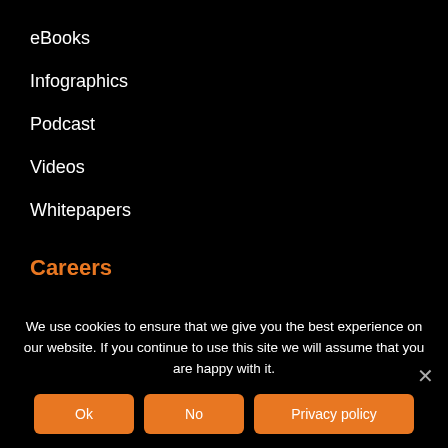eBooks
Infographics
Podcast
Videos
Whitepapers
Careers
Search and Apply
Learning & Development
We use cookies to ensure that we give you the best experience on our website. If you continue to use this site we will assume that you are happy with it.
Ok
No
Privacy policy